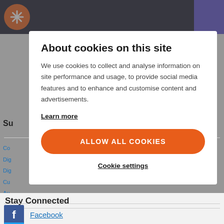About cookies on this site
We use cookies to collect and analyse information on site performance and usage, to provide social media features and to enhance and customise content and advertisements.
Learn more
ALLOW ALL COOKIES
Cookie settings
Stay Connected
Facebook